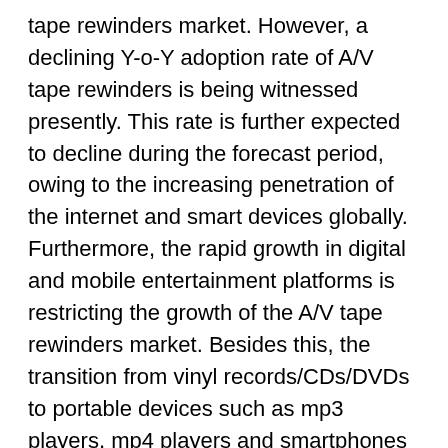tape rewinders market. However, a declining Y-o-Y adoption rate of A/V tape rewinders is being witnessed presently. This rate is further expected to decline during the forecast period, owing to the increasing penetration of the internet and smart devices globally. Furthermore, the rapid growth in digital and mobile entertainment platforms is restricting the growth of the A/V tape rewinders market. Besides this, the transition from vinyl records/CDs/DVDs to portable devices such as mp3 players, mp4 players and smartphones poses a significant challenge to the global A/V tape rewinders market.
However, an optimistic growth opportunity lies in countries deficient of advanced technological